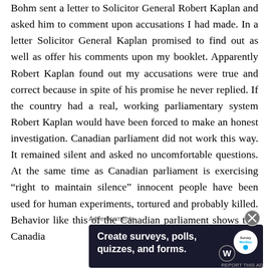Bohm sent a letter to Solicitor General Robert Kaplan and asked him to comment upon accusations I had made. In a letter Solicitor General Kaplan promised to find out as well as offer his comments upon my booklet. Apparently Robert Kaplan found out my accusations were true and correct because in spite of his promise he never replied. If the country had a real, working parliamentary system Robert Kaplan would have been forced to make an honest investigation. Canadian parliament did not work this way. It remained silent and asked no uncomfortable questions. At the same time as Canadian parliament is exercising "right to maintain silence" innocent people have been used for human experiments, tortured and probably killed. Behavior like this of the Canadian parliament shows that Canadia
[Figure (other): Advertisement banner: 'Create surveys, polls, quizzes, and forms.' with WordPress and SurveyMonkey logos on dark background]
REPORT THIS AD